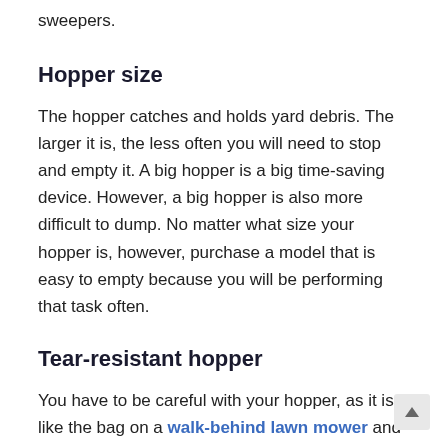sweepers.
Hopper size
The hopper catches and holds yard debris. The larger it is, the less often you will need to stop and empty it. A big hopper is a big time-saving device. However, a big hopper is also more difficult to dump. No matter what size your hopper is, however, purchase a model that is easy to empty because you will be performing that task often.
Tear-resistant hopper
You have to be careful with your hopper, as it is like the bag on a walk-behind lawn mower and can easily tear if mistreated. Because of this, aim for the most durable, tear-resistant hopper available so you wo... (continues)